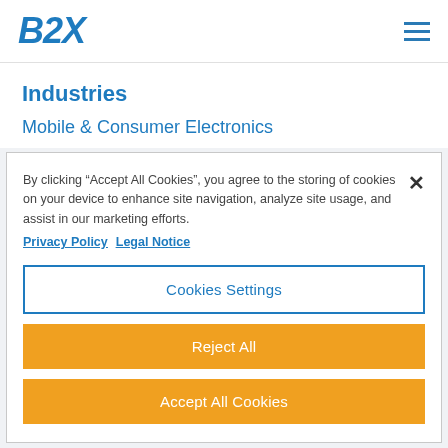B2X
Industries
Mobile & Consumer Electronics
By clicking “Accept All Cookies”, you agree to the storing of cookies on your device to enhance site navigation, analyze site usage, and assist in our marketing efforts. Privacy Policy Legal Notice
Cookies Settings
Reject All
Accept All Cookies